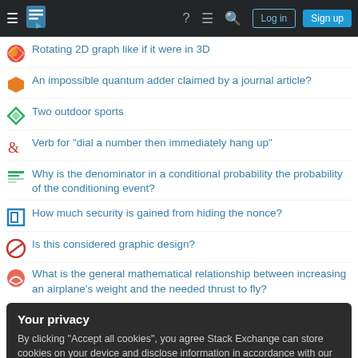Stack Exchange navigation bar with Log in and Sign up buttons
Rotating 2D graph like if it were in 3D
An impossible quantum adder claimed by a journal article?
Two outdoor sports
Verb for "dial a number then immediately hang up"
Why is the denominator in a conditional probability the probability of the conditioning event?
How much security is gained from hiding the nonce?
Is this considered graphic design?
What is the general mathematical relationship between increasing an airplane's weight and the needed thrust to fly?
Your privacy
By clicking "Accept all cookies", you agree Stack Exchange can store cookies on your device and disclose information in accordance with our Cookie Policy.
Question feed